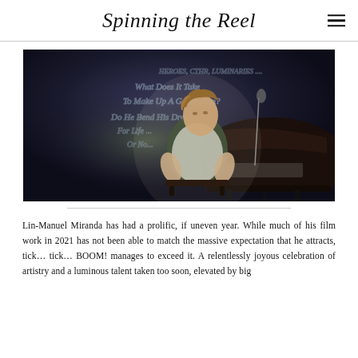Spinning the Reel
[Figure (photo): A young man sitting at a grand piano, looking upward, with handwritten text on the wall/chalkboard behind him in a dimly lit scene. Scene from tick, tick... BOOM!]
Lin-Manuel Miranda has had a prolific, if uneven year. While much of his film work in 2021 has not been able to match the massive expectation that he attracts, tick… tick… BOOM! manages to exceed it. A relentlessly joyous celebration of artistry and a luminous talent taken too soon, elevated by big